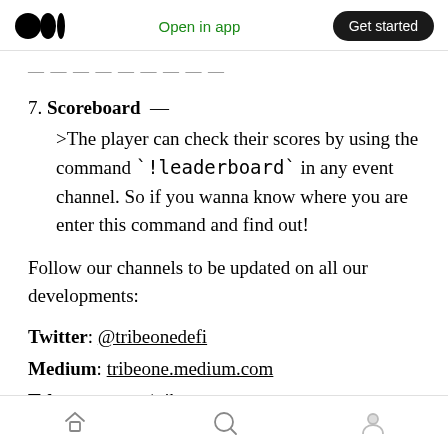Medium logo | Open in app | Get started
…
7. Scoreboard — >The player can check their scores by using the command `!leaderboard` in any event channel. So if you wanna know where you are enter this command and find out!
Follow our channels to be updated on all our developments:
Twitter: @tribeonedefi
Medium: tribeone.medium.com
Telegram: t.me/tribeone
Home | Search | Profile